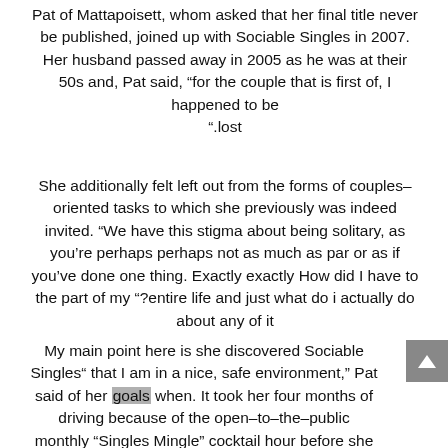Pat of Mattapoisett, whom asked that her final title never be published, joined up with Sociable Singles in 2007. Her husband passed away in 2005 as he was at their 50s and, Pat said, “for the couple that is first of, I happened to be “.lost
She additionally felt left out from the forms of couples-oriented tasks to which she previously was indeed invited. “We have this stigma about being solitary, as you’re perhaps perhaps not as much as par or as if you’ve done one thing. Exactly exactly How did I have to the part of my “?entire life and just what do i actually do about any of it
My main point here is she discovered Sociable Singles “ that I am in a nice, safe environment,” Pat said of her goals when. It took her four months of driving because of the open-to-the-public monthly “Singles Mingle” cocktail hour before she really stepped in to find a bunch with which she